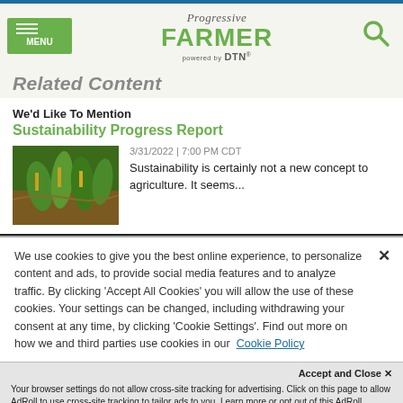Progressive FARMER powered by DTN — Menu | Search
Related Content
We'd Like To Mention
Sustainability Progress Report
[Figure (photo): Photo of corn/sorghum plants in a field]
3/31/2022 | 7:00 PM CDT
Sustainability is certainly not a new concept to agriculture. It seems...
We use cookies to give you the best online experience, to personalize content and ads, to provide social media features and to analyze traffic. By clicking 'Accept All Cookies' you will allow the use of these cookies. Your settings can be changed, including withdrawing your consent at any time, by clicking 'Cookie Settings'. Find out more on how we and third parties use cookies in our Cookie Policy
Accept and Close ✕
Your browser settings do not allow cross-site tracking for advertising. Click on this page to allow AdRoll to use cross-site tracking to tailor ads to you. Learn more or opt out of this AdRoll tracking by clicking here. This message only appears once.